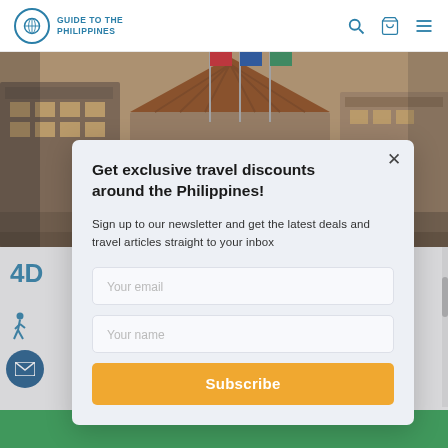GUIDE TO THE PHILIPPINES
[Figure (photo): Exterior photo of a hotel or resort building with wooden architecture, triangular rooftop, flags on flagpoles, and warm lighting — taken in the Philippines (likely Baguio area).]
Get exclusive travel discounts around the Philippines!
Sign up to our newsletter and get the latest deals and travel articles straight to your inbox